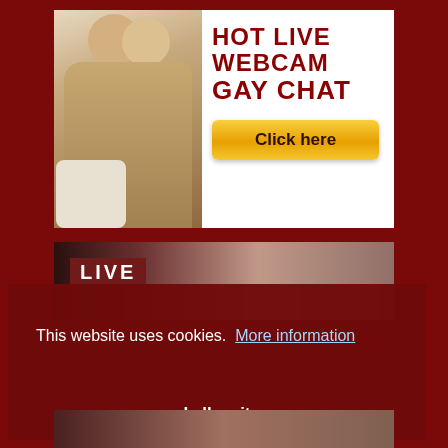[Figure (photo): Advertisement banner for hot live webcam gay chat service with two male figures and an orange click here button]
[Figure (photo): Second advertisement banner showing LIVE text label over a close-up photo]
This website uses cookies.  More information
I allow it